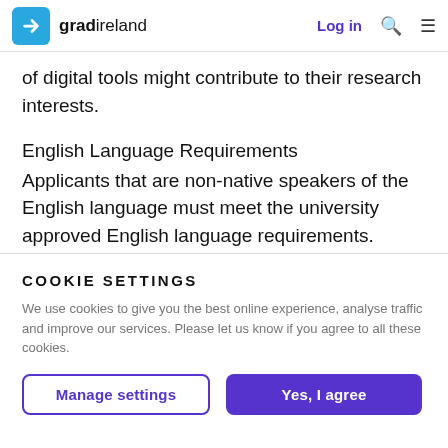gradireland — Log in
of digital tools might contribute to their research interests.
English Language Requirements
Applicants that are non-native speakers of the English language must meet the university approved English language requirements.
COOKIE SETTINGS
We use cookies to give you the best online experience, analyse traffic and improve our services. Please let us know if you agree to all these cookies.